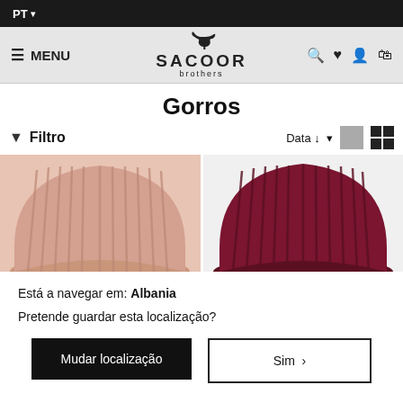PT
[Figure (logo): Sacoor Brothers logo with greyhound dog silhouette]
Gorros
Filtro   Data ↓
[Figure (photo): Two ribbed knit beanies: pink/mauve on the left, dark maroon/burgundy on the right]
Está a navegar em: Albania
Pretende guardar esta localização?
Mudar localização
Sim ›